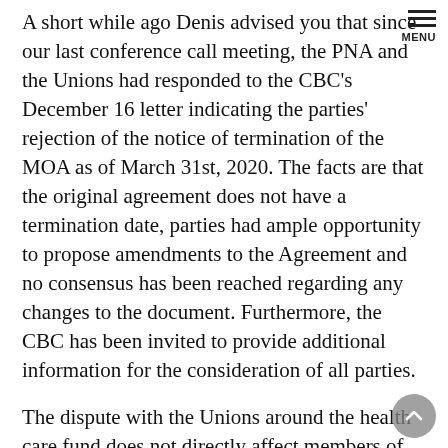A short while ago Denis advised you that since our last conference call meeting, the PNA and the Unions had responded to the CBC's December 16 letter indicating the parties' rejection of the notice of termination of the MOA as of March 31st, 2020. The facts are that the original agreement does not have a termination date, parties had ample opportunity to propose amendments to the Agreement and no consensus has been reached regarding any changes to the document. Furthermore, the CBC has been invited to provide additional information for the consideration of all parties.
The dispute with the Unions around the health care fund does not directly affect members of the PNA. The basic argument from the Unions is that they have met their obligation to create a fund and that any future deductions in pay are not anticipated in the